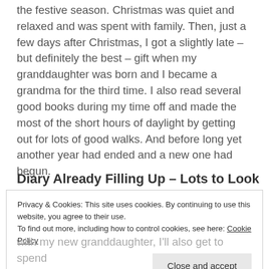the festive season. Christmas was quiet and relaxed and was spent with family. Then, just a few days after Christmas, I got a slightly late – but definitely the best – gift when my granddaughter was born and I became a grandma for the third time. I also read several good books during my time off and made the most of the short hours of daylight by getting out for lots of good walks. And before long yet another year had ended and a new one had begun.
Diary Already Filling Up – Lots to Look
Privacy & Cookies: This site uses cookies. By continuing to use this website, you agree to their use.
To find out more, including how to control cookies, see here: Cookie Policy
[Close and accept button]
with my new granddaughter, I'll also get to spend